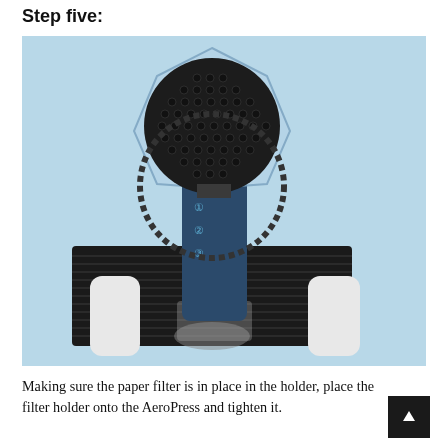Step five:
[Figure (photo): Top-down view of an AeroPress coffee maker with a perforated metal filter cap placed upside down on a dark rubber mat on top of what appears to be a phone or white device. The AeroPress body is dark blue/black with numbered markings, resting in a small glass. Background is light blue.]
Making sure the paper filter is in place in the holder, place the filter holder onto the AeroPress and tighten it.